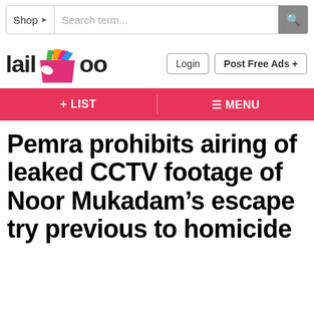Shop   Search term...
[Figure (logo): Lailkoo website logo with colorful paper bag icon]
Login   Post Free Ads +
+ LIST   ☰ MENU
Pemra prohibits airing of leaked CCTV footage of Noor Mukadam's escape try previous to homicide